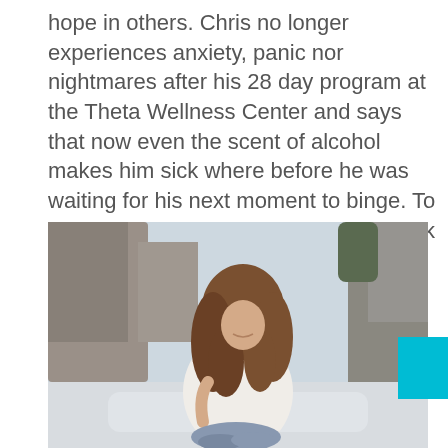hope in others. Chris no longer experiences anxiety, panic nor nightmares after his 28 day program at the Theta Wellness Center and says that now even the scent of alcohol makes him sick where before he was waiting for his next moment to binge. To watch Chris's video about his story click here
[Figure (photo): A young woman with long curly brown hair wearing a white sweater and light jeans, sitting outdoors on rocks with a blurred natural background of boulders and trees.]